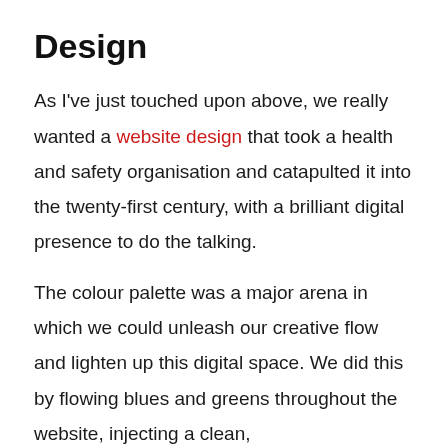Design
As I've just touched upon above, we really wanted a website design that took a health and safety organisation and catapulted it into the twenty-first century, with a brilliant digital presence to do the talking.
The colour palette was a major arena in which we could unleash our creative flow and lighten up this digital space. We did this by flowing blues and greens throughout the website, injecting a clean,